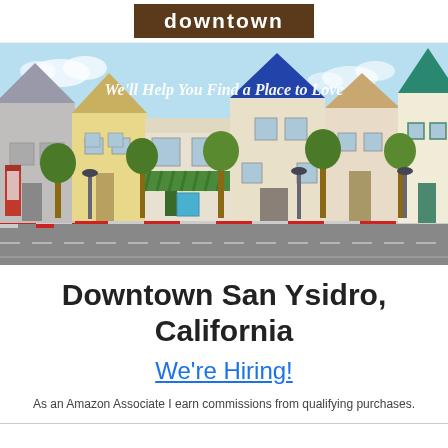downtown
[Figure (illustration): Illustrated cartoon street scene showing a row of colorful houses and shops including a store with green awning, a red phone booth, street lamps and trees, with a road in front. Text overlay reads: We'll Help You Find a Place to Love]
Downtown San Ysidro, California
We're Hiring!
As an Amazon Associate I earn commissions from qualifying purchases.